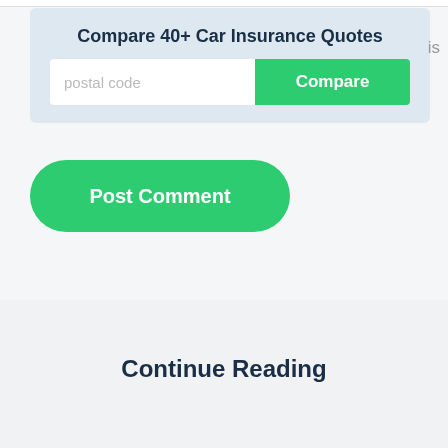Compare 40+ Car Insurance Quotes
[Figure (screenshot): Widget with postal code input field and green Compare button]
[Figure (screenshot): Green rounded Post Comment button]
Continue Reading